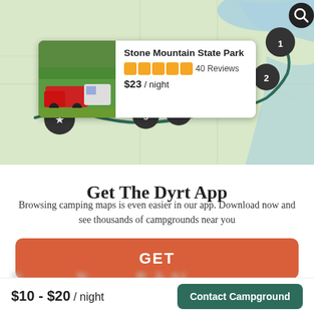[Figure (map): Interactive camping map showing a route through the eastern US with numbered location pins (1-5) and a star pin. A popup card shows Stone Mountain State Park with photo, 5-star rating, 40 Reviews, and $23/night price.]
Get The Dyrt App
Browsing camping maps is even easier in our app. Download now and see thousands of campgrounds near you
GET
$10 - $20 / night
Contact Campground